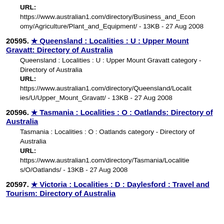URL: https://www.australian1.com/directory/Business_and_Economy/Agriculture/Plant_and_Equipment/ - 13KB - 27 Aug 2008
20595. ★ Queensland : Localities : U : Upper Mount Gravatt: Directory of Australia
Queensland : Localities : U : Upper Mount Gravatt category - Directory of Australia
URL:
https://www.australian1.com/directory/Queensland/Localities/U/Upper_Mount_Gravatt/ - 13KB - 27 Aug 2008
20596. ★ Tasmania : Localities : O : Oatlands: Directory of Australia
Tasmania : Localities : O : Oatlands category - Directory of Australia
URL:
https://www.australian1.com/directory/Tasmania/Localities/O/Oatlands/ - 13KB - 27 Aug 2008
20597. ★ Victoria : Localities : D : Daylesford : Travel and Tourism: Directory of Australia